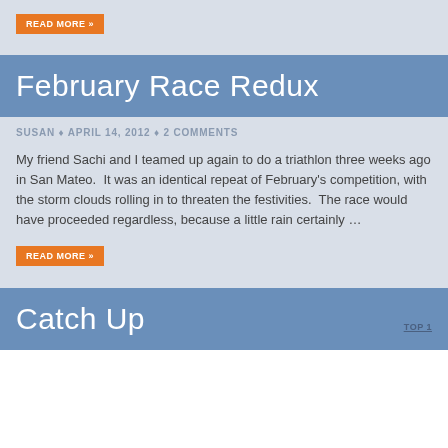READ MORE »
February Race Redux
SUSAN ♦ APRIL 14, 2012 ♦ 2 COMMENTS
My friend Sachi and I teamed up again to do a triathlon three weeks ago in San Mateo.  It was an identical repeat of February's competition, with the storm clouds rolling in to threaten the festivities.  The race would have proceeded regardless, because a little rain certainly …
READ MORE »
Catch Up
TOP 1